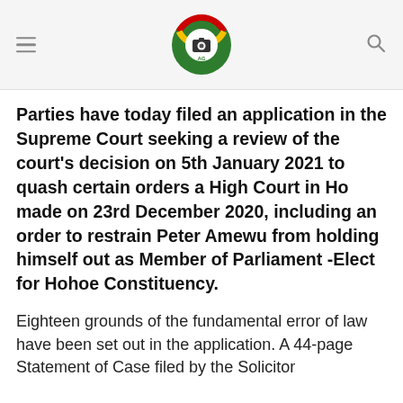[Logo: AG Ghana news site with hamburger menu and search icon]
Parties have today filed an application in the Supreme Court seeking a review of the court's decision on 5th January 2021 to quash certain orders a High Court in Ho made on 23rd December 2020, including an order to restrain Peter Amewu from holding himself out as Member of Parliament -Elect for Hohoe Constituency.
Eighteen grounds of the fundamental error of law have been set out in the application. A 44-page Statement of Case filed by the Solicitor